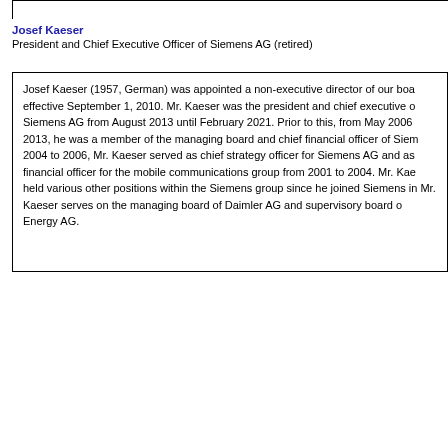Josef Kaeser
President and Chief Executive Officer of Siemens AG (retired)
Josef Kaeser (1957, German) was appointed a non-executive director of our board effective September 1, 2010. Mr. Kaeser was the president and chief executive officer of Siemens AG from August 2013 until February 2021. Prior to this, from May 2006 to 2013, he was a member of the managing board and chief financial officer of Siemens AG. From 2004 to 2006, Mr. Kaeser served as chief strategy officer for Siemens AG and as chief financial officer for the mobile communications group from 2001 to 2004. Mr. Kaeser held various other positions within the Siemens group since he joined Siemens in 1980. Mr. Kaeser serves on the managing board of Daimler AG and supervisory board of Siemens Energy AG.